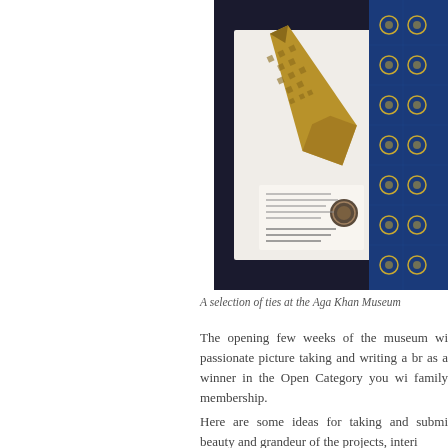[Figure (photo): A photograph showing a selection of patterned ties displayed at the Aga Khan Museum. One tie is gold with an intricate geometric pattern, and another is blue with gold geometric medallion patterns. A small information card with a circular seal is visible in the foreground.]
A selection of ties at the Aga Khan Museum
The opening few weeks of the museum will feature passionate picture taking and writing a brief caption. If selected as a winner in the Open Category you will receive a family membership.
Here are some ideas for taking and submitting photos that capture the beauty and grandeur of the projects, interiors...